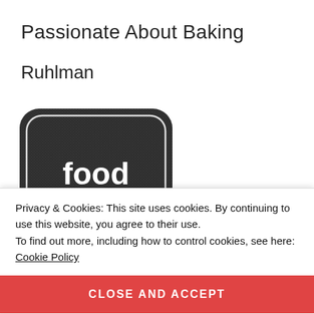Passionate About Baking
Ruhlman
[Figure (logo): Foodgawker badge/logo with dark textured rounded-rectangle background, white text reading 'food gawker my gallery']
Privacy & Cookies: This site uses cookies. By continuing to use this website, you agree to their use.
To find out more, including how to control cookies, see here: Cookie Policy
CLOSE AND ACCEPT